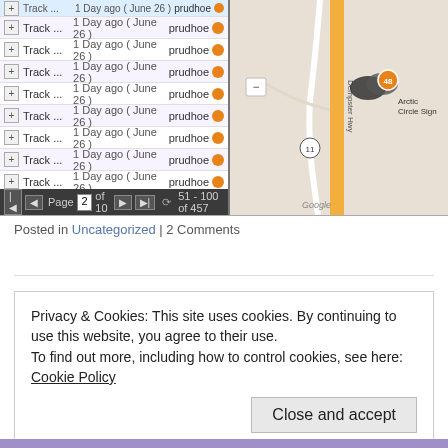[Figure (screenshot): Screenshot of a GPS track listing app on the left showing multiple 'Track...' entries with date '1 Day ago (June 26)' and location 'prudhoe' with orange dots, a navigation bar showing 'Page 2 of 10' and '51 - 100 of 457', and a Google Maps panel on the right showing a map near Arctic Circle Sign with orange map pins clustered together.]
Posted in Uncategorized | 2 Comments
Privacy & Cookies: This site uses cookies. By continuing to use this website, you agree to their use.
To find out more, including how to control cookies, see here: Cookie Policy
Close and accept